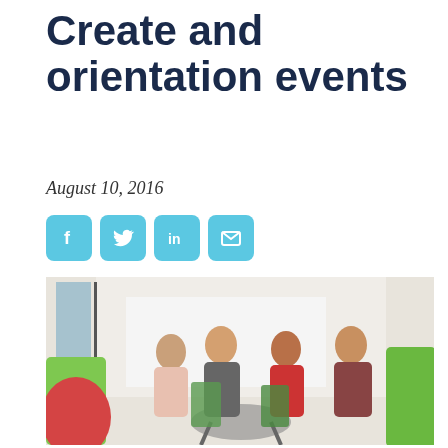Create and orientation events
August 10, 2016
[Figure (infographic): Four social media share buttons: Facebook (f), Twitter (bird), LinkedIn (in), Email (envelope), styled as rounded sky-blue squares]
[Figure (photo): Four college students sitting outdoors at a table, laughing and talking. Colorful chairs (red, green) are in the foreground. A building with large windows is visible in the background.]